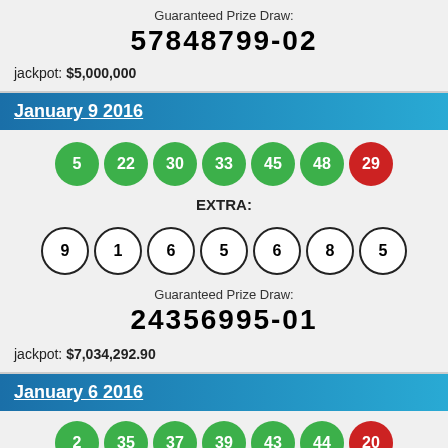Guaranteed Prize Draw:
57848799-02
jackpot: $5,000,000
January 9 2016
[Figure (infographic): Lottery balls: green balls 5, 22, 30, 33, 45, 48 and red bonus ball 29]
EXTRA:
[Figure (infographic): Extra lottery balls: 9, 1, 6, 5, 6, 8, 5]
Guaranteed Prize Draw:
24356995-01
jackpot: $7,034,292.90
January 6 2016
[Figure (infographic): Lottery balls: green balls 2, 35, 37, 39, 43, 44 and red bonus ball 20]